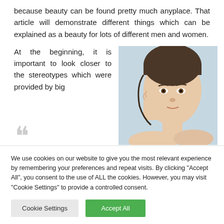because beauty can be found pretty much anyplace. That article will demonstrate different things which can be explained as a beauty for lots of different men and women.
At the beginning, it is important to look closer to the stereotypes which were provided by big
[Figure (photo): Close-up photo of a woman's face against a light blue background, her hand touching her cheek, looking at camera]
We use cookies on our website to give you the most relevant experience by remembering your preferences and repeat visits. By clicking "Accept All", you consent to the use of ALL the cookies. However, you may visit "Cookie Settings" to provide a controlled consent.